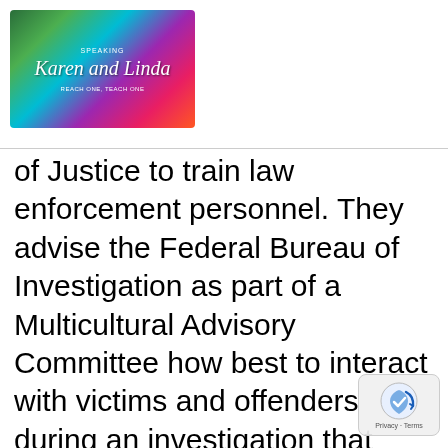[Figure (logo): Karen and Linda logo with colorful gradient background, cursive text reading 'Karen and Linda' with tagline 'REACH ONE, TEACH ONE']
of Justice to train law enforcement personnel. They advise the Federal Bureau of Investigation as part of a Multicultural Advisory Committee how best to interact with victims and offenders during an investigation that involves the FBI and the LGBTQ+ community with a specific focus on interaction with transgender perso... They most recently played a role with